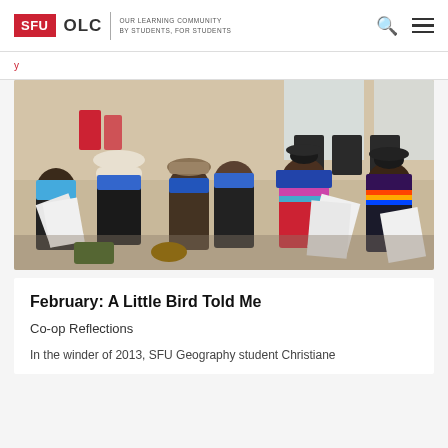SFU OLC | OUR LEARNING COMMUNITY BY STUDENTS, FOR STUDENTS
[Figure (photo): Group of indigenous people in traditional and blue clothing sitting in rows, reading and holding papers at what appears to be a community meeting or workshop.]
February: A Little Bird Told Me
Co-op Reflections
In the winder of 2013, SFU Geography student Christiane